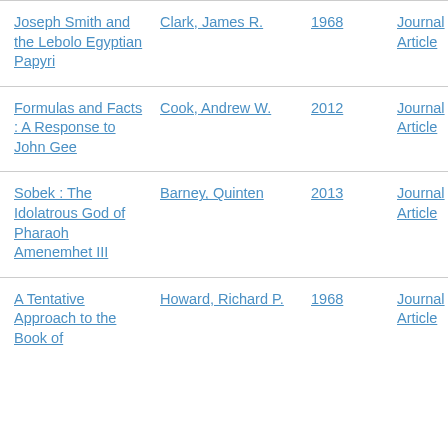| Title | Author | Year | Type |
| --- | --- | --- | --- |
| Joseph Smith and the Lebolo Egyptian Papyri | Clark, James R. | 1968 | Journal Article |
| Formulas and Facts : A Response to John Gee | Cook, Andrew W. | 2012 | Journal Article |
| Sobek : The Idolatrous God of Pharaoh Amenemhet III | Barney, Quinten | 2013 | Journal Article |
| A Tentative Approach to the Book of | Howard, Richard P. | 1968 | Journal Article |